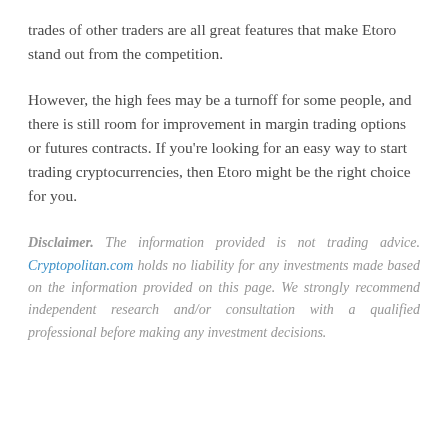trades of other traders are all great features that make Etoro stand out from the competition.
However, the high fees may be a turnoff for some people, and there is still room for improvement in margin trading options or futures contracts. If you're looking for an easy way to start trading cryptocurrencies, then Etoro might be the right choice for you.
Disclaimer. The information provided is not trading advice. Cryptopolitan.com holds no liability for any investments made based on the information provided on this page. We strongly recommend independent research and/or consultation with a qualified professional before making any investment decisions.